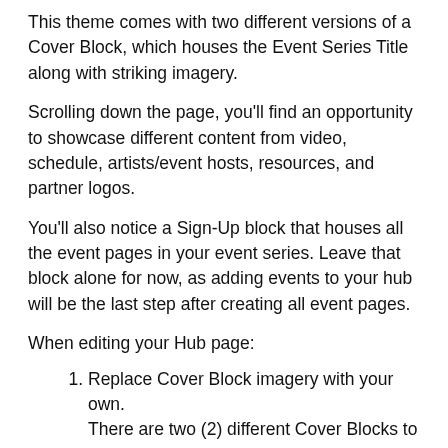This theme comes with two different versions of a Cover Block, which houses the Event Series Title along with striking imagery.
Scrolling down the page, you'll find an opportunity to showcase different content from video, schedule, artists/event hosts, resources, and partner logos.
You'll also notice a Sign-Up block that houses all the event pages in your event series. Leave that block alone for now, as adding events to your hub will be the last step after creating all event pages.
When editing your Hub page:
Replace Cover Block imagery with your own. There are two (2) different Cover Blocks to choose from on this theme. One is "hidden" in the layout tab by default. Cover Block 1 includes four different images you can swap out. Cover Block 2 includes one edge-to-edge hero image, which could be a better option for your showcase.